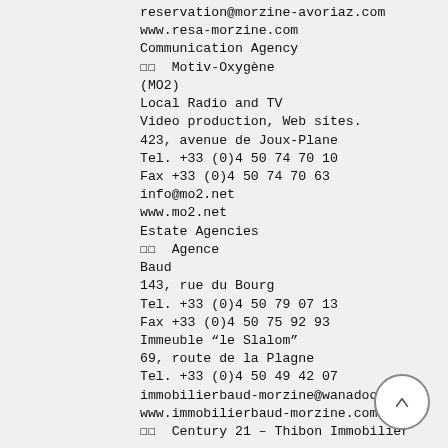reservation@morzine-avoriaz.com
www.resa-morzine.com
Communication Agency
■■  Motiv-Oxygène
(MO2)
Local Radio and TV
Video production, Web sites.
423, avenue de Joux-Plane
Tel. +33 (0)4 50 74 70 10
Fax +33 (0)4 50 74 70 63
info@mo2.net
www.mo2.net
Estate Agencies
■■  Agence Baud
143, rue du Bourg
Tel. +33 (0)4 50 79 07 13
Fax +33 (0)4 50 75 92 93
Immeuble “le Slalom”
69, route de la Plagne
Tel. +33 (0)4 50 49 42 07
immobilierbaud-morzine@wanadoo.fr
www.immobilierbaud-morzine.com
■■  Century 21 – Thibon Immobilier